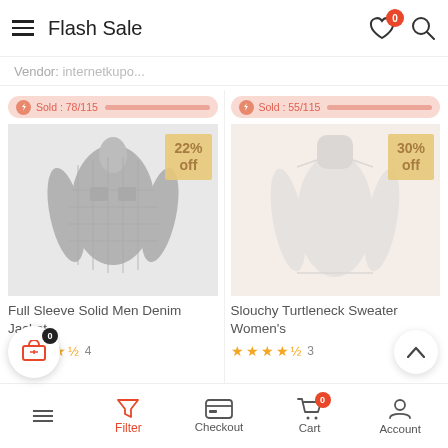Flash Sale
Vendor: internetkupo...
Sold : 78/115
Sold : 55/115
[Figure (photo): Dark denim jacket with 22% off badge]
[Figure (photo): White turtleneck sweater with 30% off badge]
Full Sleeve Solid Men Denim Jacket
Slouchy Turtleneck Sweater Women's
★★★★½  4
★★★★½  3
Filter  Checkout  Cart  Account